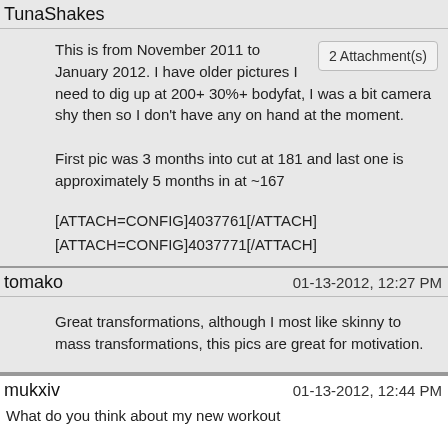TunaShakes
This is from November 2011 to January 2012. I have older pictures I need to dig up at 200+ 30%+ bodyfat, I was a bit camera shy then so I don't have any on hand at the moment.

First pic was 3 months into cut at 181 and last one is approximately 5 months in at ~167

[ATTACH=CONFIG]4037761[/ATTACH]
[ATTACH=CONFIG]4037771[/ATTACH]
2 Attachment(s)
tomako	01-13-2012, 12:27 PM
Great transformations, although I most like skinny to mass transformations, this pics are great for motivation.
mukxiv	01-13-2012, 12:44 PM
What do you think about my new workout